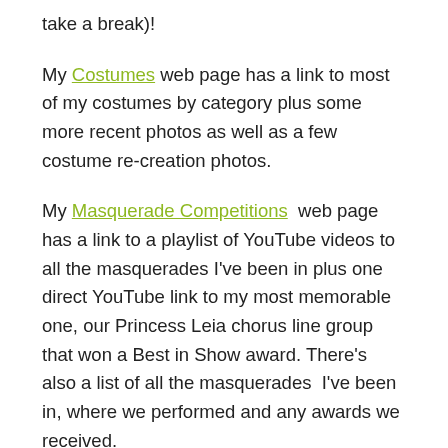take a break)!
My Costumes web page has a link to most of my costumes by category plus some more recent photos as well as a few costume re-creation photos.
My Masquerade Competitions web page has a link to a playlist of YouTube videos to all the masquerades I've been in plus one direct YouTube link to my most memorable one, our Princess Leia chorus line group that won a Best in Show award. There's also a list of all the masquerades I've been in, where we performed and any awards we received.
I was an extra in a Regency indie movie, a Star Trek demo film and a Steampunk movie that won awards at